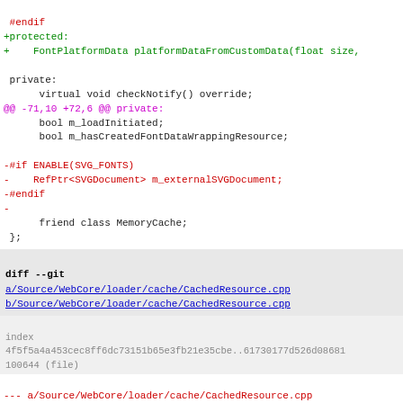code diff showing changes to font and cache resource C++ files
#endif
+protected:
+    FontPlatformData platformDataFromCustomData(float size,

 private:
      virtual void checkNotify() override;
@@ -71,10 +72,6 @@ private:
      bool m_loadInitiated;
      bool m_hasCreatedFontDataWrappingResource;

-#if ENABLE(SVG_FONTS)
-    RefPtr<SVGDocument> m_externalSVGDocument;
-#endif
-
     friend class MemoryCache;
 };

diff --git
a/Source/WebCore/loader/cache/CachedResource.cpp
b/Source/WebCore/loader/cache/CachedResource.cpp
index
4f5f5a4a453cec8ff6dc73151b65e3fb21e35cbe..61730177d526d08681
100644 (file)
--- a/Source/WebCore/loader/cache/CachedResource.cpp
+++ b/Source/WebCore/loader/cache/CachedResource.cpp
@@ -69,6 +69,9 @@ static ResourceLoadPriority defaultPriorit
     case CachedResource::CSSStyleSheet:
         return ResourceLoadPriorityHigh;
     case CachedResource::Script:
+#if ENABLE(SVG_FONTS)
+        case CachedResource::SVGFontResource: